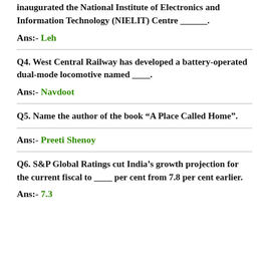inaugurated the National Institute of Electronics and Information Technology (NIELIT) Centre _____.
Ans:- Leh
Q4. West Central Railway has developed a battery-operated dual-mode locomotive named ____.
Ans:- Navdoot
Q5. Name the author of the book “A Place Called Home”.
Ans:- Preeti Shenoy
Q6. S&P Global Ratings cut India’s growth projection for the current fiscal to ____ per cent from 7.8 per cent earlier.
Ans:- 7.3